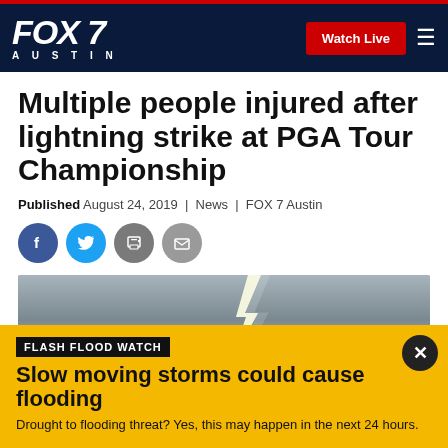FOX 7 AUSTIN — Watch Live
Multiple people injured after lightning strike at PGA Tour Championship
Published August 24, 2019 | News | FOX 7 Austin
[Figure (photo): Lightning strike photo with dark stormy sky and bright lightning bolt]
FLASH FLOOD WATCH
Slow moving storms could cause flooding
Drought to flooding threat? Yes, this may happen in the next 24 hours.